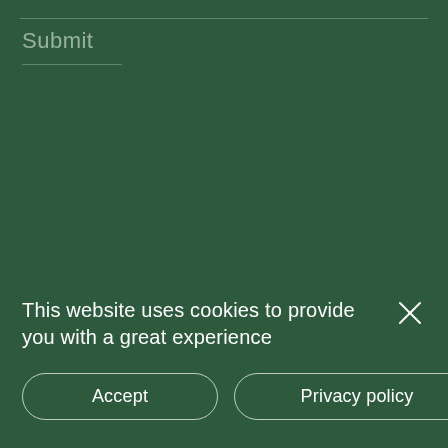Submit
This website uses cookies to provide you with a great experience
Accept
Privacy policy